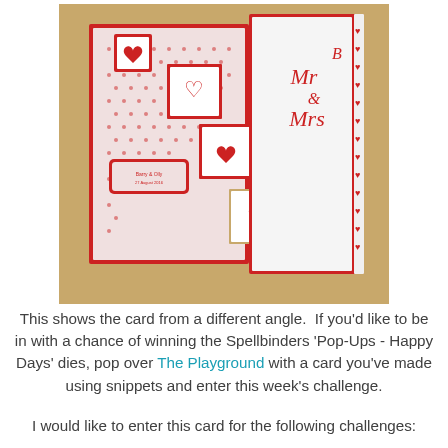[Figure (photo): A handmade wedding card photographed from a different angle on a wooden surface. The card is red and white with a stair-step pop-up structure. Each step has a white panel with red heart or linked hearts motif. The left panel has a red polka-dot pattern with a small red-bordered label. The right panel is plain white with 'Mr & Mrs' in red script lettering. The edges of the right panel are decorated with a red heart-shaped border die-cut.]
This shows the card from a different angle.  If you'd like to be in with a chance of winning the Spellbinders 'Pop-Ups - Happy Days' dies, pop over The Playground with a card you've made using snippets and enter this week's challenge.
I would like to enter this card for the following challenges: